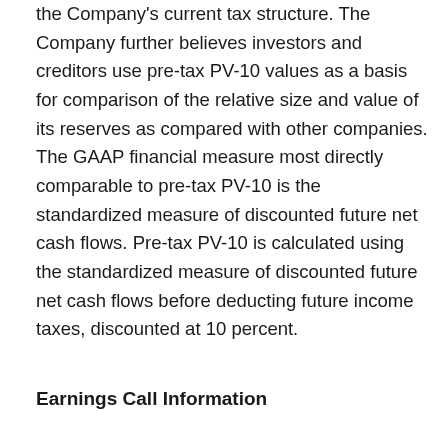the Company's current tax structure. The Company further believes investors and creditors use pre-tax PV-10 values as a basis for comparison of the relative size and value of its reserves as compared with other companies. The GAAP financial measure most directly comparable to pre-tax PV-10 is the standardized measure of discounted future net cash flows. Pre-tax PV-10 is calculated using the standardized measure of discounted future net cash flows before deducting future income taxes, discounted at 10 percent.
Earnings Call Information